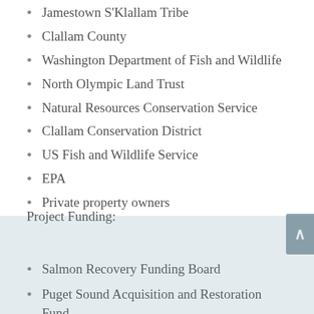Jamestown S'Klallam Tribe
Clallam County
Washington Department of Fish and Wildlife
North Olympic Land Trust
Natural Resources Conservation Service
Clallam Conservation District
US Fish and Wildlife Service
EPA
Private property owners
Project Funding:
Salmon Recovery Funding Board
Puget Sound Acquisition and Restoration Fund
Aquatic Lands Enhancement Account